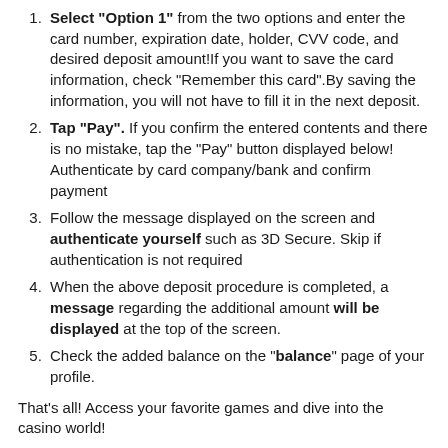Select "Option 1" from the two options and enter the card number, expiration date, holder, CVV code, and desired deposit amount!If you want to save the card information, check "Remember this card".By saving the information, you will not have to fill it in the next deposit.
Tap "Pay". If you confirm the entered contents and there is no mistake, tap the "Pay" button displayed below! Authenticate by card company/bank and confirm payment
Follow the message displayed on the screen and authenticate yourself such as 3D Secure. Skip if authentication is not required
When the above deposit procedure is completed, a message regarding the additional amount will be displayed at the top of the screen.
Check the added balance on the "balance" page of your profile.
That’s all! Access your favorite games and dive into the casino world!
Option 2